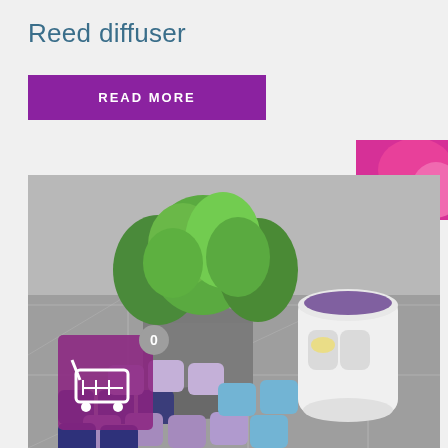Reed diffuser
READ MORE
[Figure (photo): Photo of colorful wax melt cubes in purple, blue, and lavender colors arranged around a white ceramic wax warmer burner, with a green plant in a gray pot in the background, on a gray tiled surface. A shopping cart widget with badge showing '0' is overlaid in the lower left corner.]